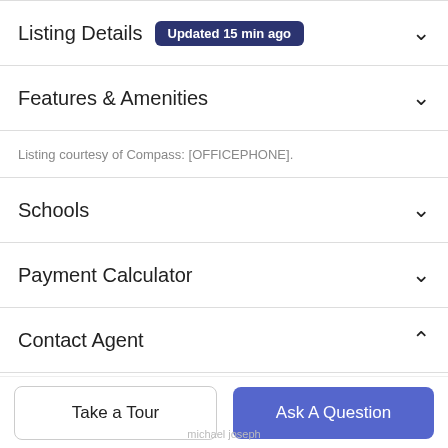Listing Details Updated 15 min ago
Features & Amenities
Listing courtesy of Compass: [OFFICEPHONE].
Schools
Payment Calculator
Contact Agent
[Figure (photo): Agent profile photo, circular crop showing a man in a suit]
Take a Tour
Ask A Question